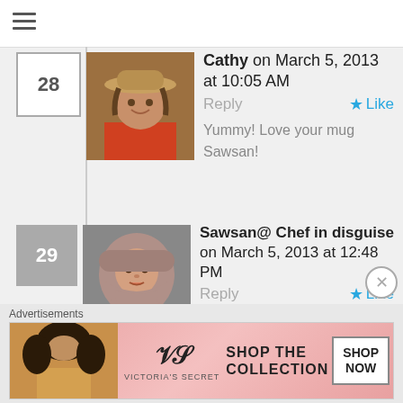[Figure (screenshot): Hamburger menu icon at top left]
Cathy on March 5, 2013 at 10:05 AM  Reply  ★ Like
Yummy! Love your mug Sawsan!
Sawsan@ Chef in disguise on March 5, 2013 at 12:48 PM  Reply  ★ Like
Thank you kindly Cathy 🙂 I love it too. It is a way to start the day with a smile
Advertisements
[Figure (photo): Victoria's Secret advertisement banner: SHOP THE COLLECTION - SHOP NOW]